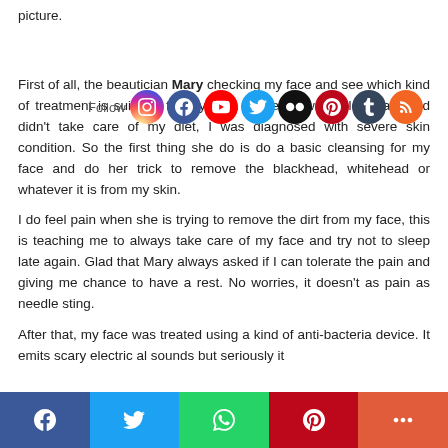picture.
[Figure (infographic): Social media follow bar with icons for Instagram, Facebook, YouTube, Twitter, Flickr, Pinterest, Tumblr, RSS]
First of all, the beautician Mary checking my face and see which kind of treatment is suitable for my skin. Since I always sleep late and didn't take care of my diet, I was diagnosed with severe skin condition. So the first thing she do is do a basic cleansing for my face and do her trick to remove the blackhead, whitehead or whatever it is from my skin.
I do feel pain when she is trying to remove the dirt from my face, this is teaching me to always take care of my face and try not to sleep late again. Glad that Mary always asked if I can tolerate the pain and giving me chance to have a rest. No worries, it doesn't as pain as needle sting.
After that, my face was treated using a kind of anti-bacteria device. It emits scary electric al sounds but seriously it
[Figure (infographic): Bottom social share bar with Facebook, Twitter, WhatsApp, Pinterest, and More buttons]